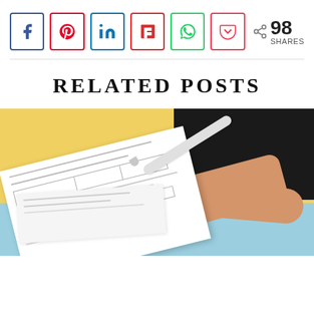[Figure (infographic): Social share buttons: Facebook (blue border), Pinterest (red border), LinkedIn (blue border), Flipboard (red border), WhatsApp (green border), Pocket (red border), followed by a share count showing 98 SHARES]
RELATED POSTS
[Figure (photo): A person in a black top holding a white pen and reviewing printed documents/forms with wireframe-like diagrams, on a yellow background with a blue desk surface and additional papers below.]